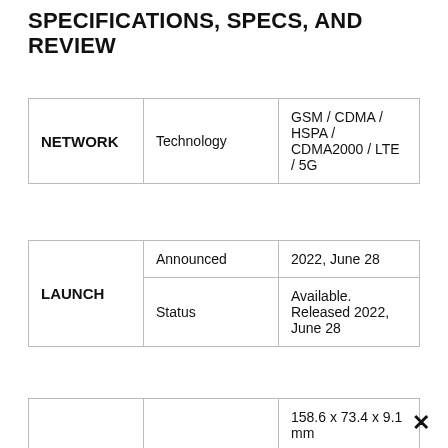SPECIFICATIONS, SPECS, AND REVIEW
| Category | Sub-category | Value |
| --- | --- | --- |
| NETWORK | Technology | GSM / CDMA / HSPA / CDMA2000 / LTE / 5G |
| Category | Sub-category | Value |
| --- | --- | --- |
| LAUNCH | Announced | 2022, June 28 |
| LAUNCH | Status | Available. Released 2022, June 28 |
| Category | Sub-category | Value |
| --- | --- | --- |
|  |  | 158.6 x 73.4 x 9.1 mm |